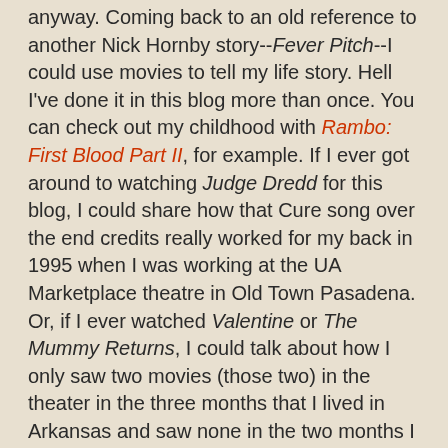anyway. Coming back to an old reference to another Nick Hornby story--Fever Pitch--I could use movies to tell my life story. Hell I've done it in this blog more than once. You can check out my childhood with Rambo: First Blood Part II, for example. If I ever got around to watching Judge Dredd for this blog, I could share how that Cure song over the end credits really worked for my back in 1995 when I was working at the UA Marketplace theatre in Old Town Pasadena. Or, if I ever watched Valentine or The Mummy Returns, I could talk about how I only saw two movies (those two) in the theater in the three months that I lived in Arkansas and saw none in the two months I lived in Tennessee. Movies, I think, are one of the California things, the Southern California things, the LA things stuck in my blood from living here for the rest of my four decades.
(For the record, the weekend High Fidelity came out, it was #4 at the box office. I saw it that weekend. I had just read the book. And, I think I could relate even more to Rob Gordon back then than I can now because I was in a serious funk, activating my long-term depression, after my first romantic relationship had ended. Erin Brockovich